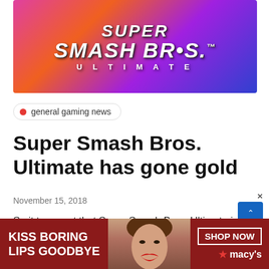[Figure (illustration): Super Smash Bros. Ultimate banner with colorful game characters and logo on gradient background]
general gaming news
Super Smash Bros. Ultimate has gone gold
November 15, 2018
So it turns out that Super Smash Bros. Ultimate is already pushing the boundaries of expectations weeks ahead of release. It turns out that the...
[Figure (photo): Advertisement banner: KISS BORING LIPS GOODBYE - Macy's cosmetics ad with woman's face showing red lipstick. SHOP NOW button and macy's logo with red star.]